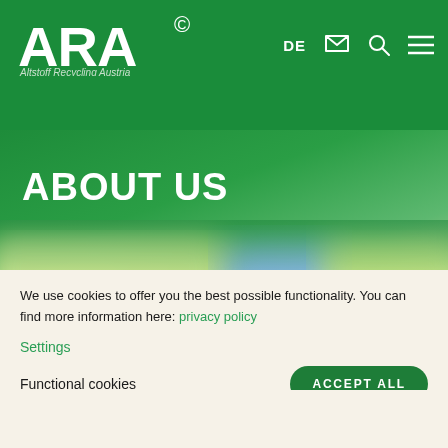[Figure (logo): ARA logo with recycling symbol and subtitle 'Altstoff Recycling Austria' on green background]
ABOUT US
[Figure (photo): Blurred background image showing recycling-related content, partially obscured]
We use cookies to offer you the best possible functionality. You can find more information here: privacy policy
Settings
Functional cookies
ACCEPT ALL